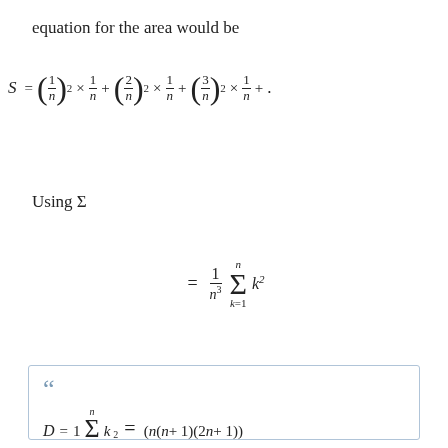equation for the area would be
Using \Sigma
“